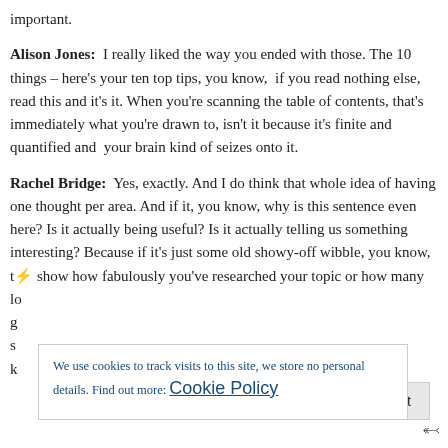important.
Alison Jones: I really liked the way you ended with those. The 10 things – here's your ten top tips, you know, if you read nothing else, read this and it's it. When you're scanning the table of contents, that's immediately what you're drawn to, isn't it because it's finite and quantified and your brain kind of seizes onto it.
Rachel Bridge: Yes, exactly. And I do think that whole idea of having one thought per area. And if it, you know, why is this sentence even here? Is it actually being useful? Is it actually telling us something interesting? Because if it's just some old showy-off wibble, you know, to show how fabulously you've researched your topic or how many lo... g... s... k...
We use cookies to track visits to this site, we store no personal details. Find out more: Cookie Policy
Close and accept